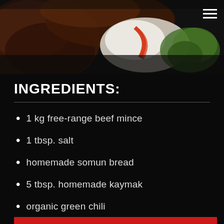[Figure (photo): Close-up photo of a burger or meat dish with white cream/kaymak, red pepper, and green vegetables on a dark background. A hamburger menu icon appears in the top right corner.]
INGREDIENTS:
1 kg free-range beef mince
1 tbsp. salt
homemade somun bread
5 tbsp. homemade kaymak
organic green chili
extra virgin olive oil